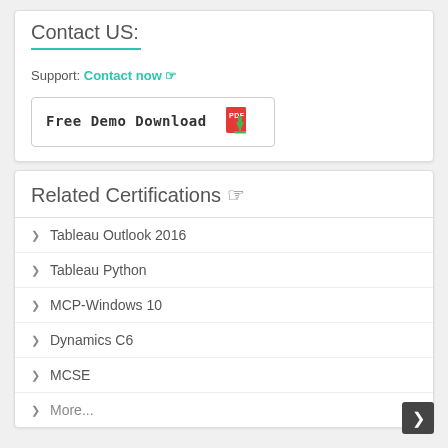Contact US:
Support: Contact now ☞
[Figure (other): Free Demo Download button with PDF icon]
Related Certifications ☞
Tableau Outlook 2016
Tableau Python
MCP-Windows 10
Dynamics C6
MCSE
More...